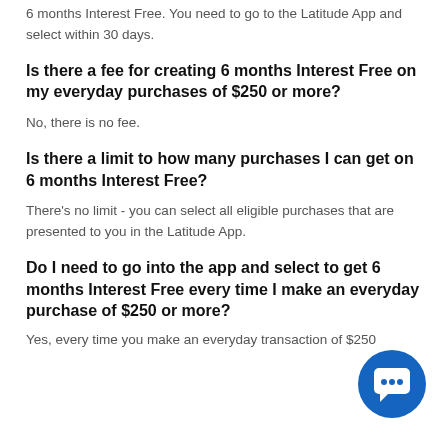6 months Interest Free. You need to go to the Latitude App and select within 30 days.
Is there a fee for creating 6 months Interest Free on my everyday purchases of $250 or more?
No, there is no fee.
Is there a limit to how many purchases I can get on 6 months Interest Free?
There's no limit - you can select all eligible purchases that are presented to you in the Latitude App.
Do I need to go into the app and select to get 6 months Interest Free every time I make an everyday purchase of $250 or more?
Yes, every time you make an everyday transaction of $250
[Figure (illustration): Blue circular chat/bot button icon with a smiling face chat bubble symbol]